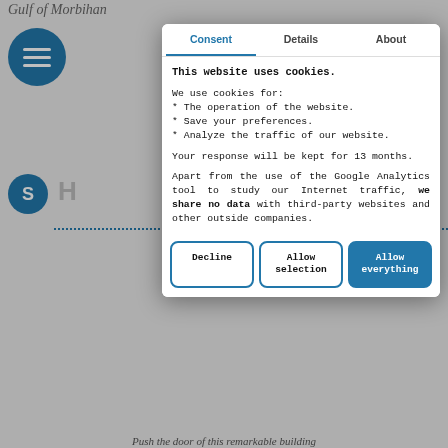Gulf of Morbihan
[Figure (screenshot): Cookie consent modal dialog overlay on a website. The modal has three tabs: Consent (active, in blue), Details, and About. The modal content explains cookie usage and data sharing policy. Three buttons at the bottom: Decline, Allow selection, Allow everything.]
This website uses cookies.
We use cookies for:
* The operation of the website.
* Save your preferences.
* Analyze the traffic of our website.
Your response will be kept for 13 months.
Apart from the use of the Google Analytics tool to study our Internet traffic, we share no data with third-party websites and other outside companies.
Decline
Allow selection
Allow everything
Britai
29)
Capaci
Rooms
Type: F
Push the door of this remarkable building